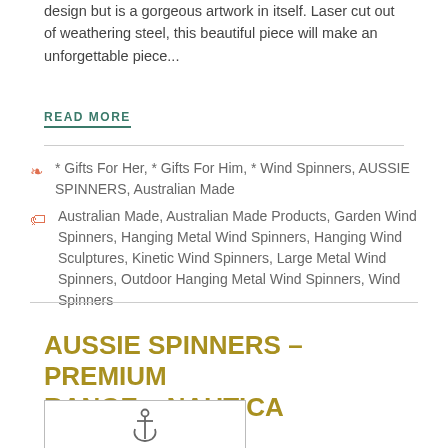design but is a gorgeous artwork in itself. Laser cut out of weathering steel, this beautiful piece will make an unforgettable piece...
READ MORE
* Gifts For Her, * Gifts For Him, * Wind Spinners, AUSSIE SPINNERS, Australian Made
Australian Made, Australian Made Products, Garden Wind Spinners, Hanging Metal Wind Spinners, Hanging Wind Sculptures, Kinetic Wind Spinners, Large Metal Wind Spinners, Outdoor Hanging Metal Wind Spinners, Wind Spinners
AUSSIE SPINNERS – PREMIUM RANGE – NAUTICA
[Figure (illustration): Partial product image showing an anchor icon in a bordered box]